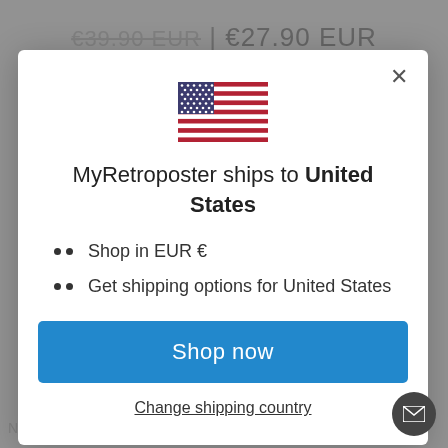[Figure (screenshot): Background page showing price text: €39.90 EUR | €27.90 EUR, dimmed behind modal overlay]
[Figure (illustration): US flag emoji / icon centered in modal]
MyRetroposter ships to United States
Shop in EUR €
Get shipping options for United States
Shop now
Change shipping country